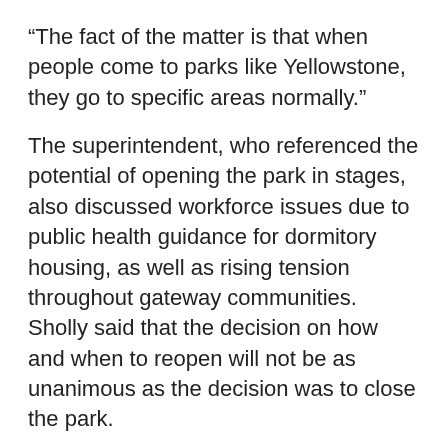“The fact of the matter is that when people come to parks like Yellowstone, they go to specific areas normally.”
The superintendent, who referenced the potential of opening the park in stages, also discussed workforce issues due to public health guidance for dormitory housing, as well as rising tension throughout gateway communities. Sholly said that the decision on how and when to reopen will not be as unanimous as the decision was to close the park.
Focusing the meeting locally, Karst Stage CEO Dan Martin offered insight to the visitation climate through the lens of a transportation provider. Martin said Karst’s summer bookings have “fallen off a cliff,” with cancellations extending into the summer. He compared Big Sky’s early closure to a